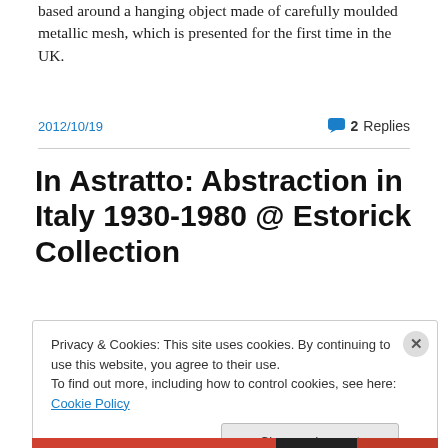based around a hanging object made of carefully moulded metallic mesh, which is presented for the first time in the UK.
2012/10/19   💬 2 Replies
In Astratto: Abstraction in Italy 1930-1980 @ Estorick Collection
Privacy & Cookies: This site uses cookies. By continuing to use this website, you agree to their use.
To find out more, including how to control cookies, see here: Cookie Policy
Close and accept